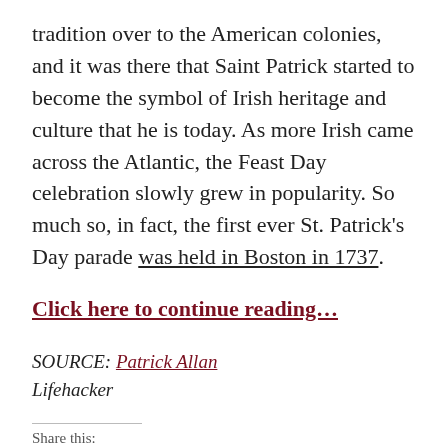tradition over to the American colonies, and it was there that Saint Patrick started to become the symbol of Irish heritage and culture that he is today. As more Irish came across the Atlantic, the Feast Day celebration slowly grew in popularity. So much so, in fact, the first ever St. Patrick's Day parade was held in Boston in 1737.
Click here to continue reading…
SOURCE: Patrick Allan
Lifehacker
Share this: